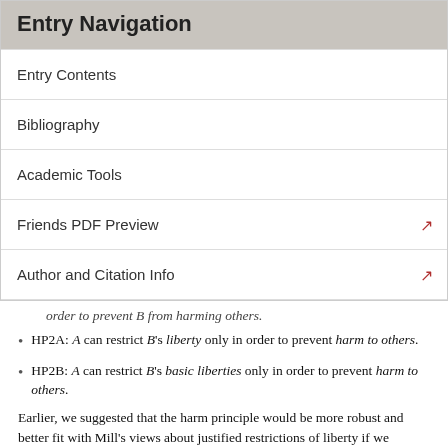Entry Navigation
Entry Contents
Bibliography
Academic Tools
Friends PDF Preview
Author and Citation Info
order to prevent B from harming others.
HP2A: A can restrict B's liberty only in order to prevent harm to others.
HP2B: A can restrict B's basic liberties only in order to prevent harm to others.
Earlier, we suggested that the harm principle would be more robust and better fit with Mill's views about justified restrictions of liberty if we understood it is a harm prevention principle, essentially, as HP2A, rather than HP1A. Now we have seen how the harm principle would